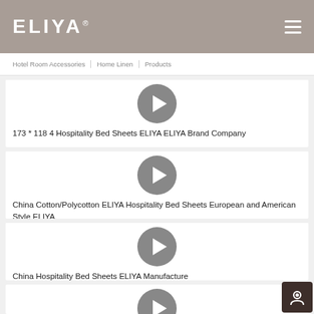ELIYA
Hotel Room Accessories | Home Linen | Products
[Figure (screenshot): Video thumbnail with play button for '173 * 118 4 Hospitality Bed Sheets ELIYA ELIYA Brand Company']
173 * 118 4 Hospitality Bed Sheets ELIYA ELIYA Brand Company
[Figure (screenshot): Video thumbnail with play button for 'China Cotton/Polycotton ELIYA Hospitality Bed Sheets European and American Style ELIYA']
China Cotton/Polycotton ELIYA Hospitality Bed Sheets European and American Style ELIYA
[Figure (screenshot): Video thumbnail with play button for 'China Hospitality Bed Sheets ELIYA Manufacture']
China Hospitality Bed Sheets ELIYA Manufacture
[Figure (screenshot): Partial video thumbnail with play button (fourth video, cropped)]